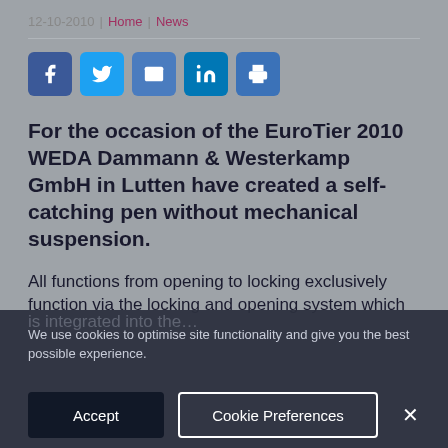12-10-2010 | Home | News
[Figure (infographic): Social media sharing icons: Facebook, Twitter, email, LinkedIn, print — dark blue rounded square buttons with white icons]
For the occasion of the EuroTier 2010 WEDA Dammann & Westerkamp GmbH in Lutten have created a self-catching pen without mechanical suspension.
All functions from opening to locking exclusively function via the locking and opening system which
We use cookies to optimise site functionality and give you the best possible experience.